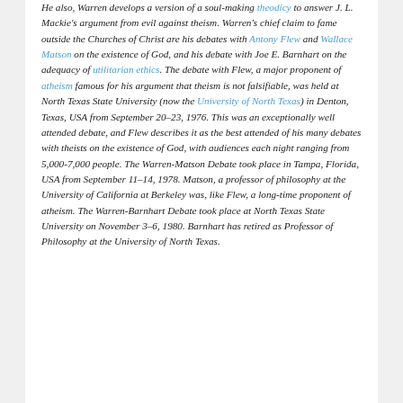He also, Warren develops a version of a soul-making theodicy to answer J. L. Mackie's argument from evil against theism. Warren's chief claim to fame outside the Churches of Christ are his debates with Antony Flew and Wallace Matson on the existence of God, and his debate with Joe E. Barnhart on the adequacy of utilitarian ethics. The debate with Flew, a major proponent of atheism famous for his argument that theism is not falsifiable, was held at North Texas State University (now the University of North Texas) in Denton, Texas, USA from September 20–23, 1976. This was an exceptionally well attended debate, and Flew describes it as the best attended of his many debates with theists on the existence of God, with audiences each night ranging from 5,000-7,000 people. The Warren-Matson Debate took place in Tampa, Florida, USA from September 11–14, 1978. Matson, a professor of philosophy at the University of California at Berkeley was, like Flew, a long-time proponent of atheism. The Warren-Barnhart Debate took place at North Texas State University on November 3–6, 1980. Barnhart has retired as Professor of Philosophy at the University of North Texas.